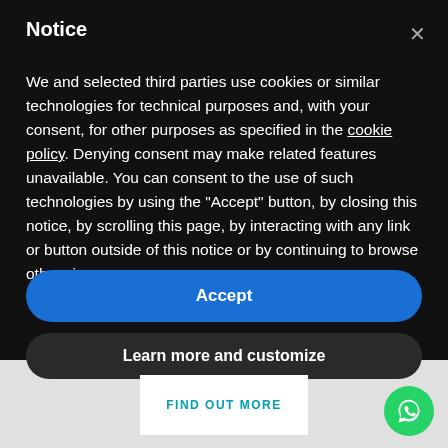Notice
We and selected third parties use cookies or similar technologies for technical purposes and, with your consent, for other purposes as specified in the cookie policy. Denying consent may make related features unavailable. You can consent to the use of such technologies by using the "Accept" button, by closing this notice, by scrolling this page, by interacting with any link or button outside of this notice or by continuing to browse otherwise.
Accept
Learn more and customize
FIND OUT MORE